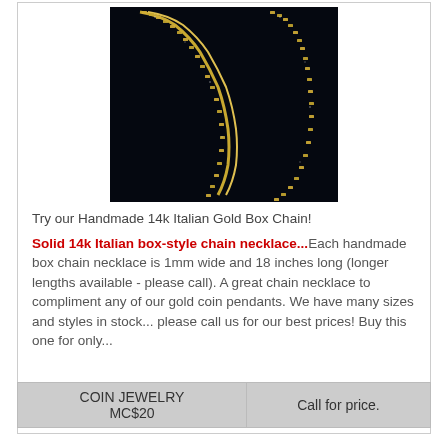[Figure (photo): Photo of a 14k Italian gold box chain necklace on a black background, showing the detailed link pattern of the chain.]
Try our Handmade 14k Italian Gold Box Chain!
Solid 14k Italian box-style chain necklace...Each handmade box chain necklace is 1mm wide and 18 inches long (longer lengths available - please call). A great chain necklace to compliment any of our gold coin pendants. We have many sizes and styles in stock... please call us for our best prices! Buy this one for only...
| COIN JEWELRY
MCS20 | Call for price. |